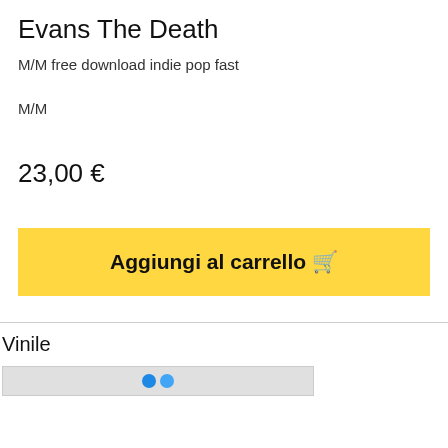Evans The Death
M/M free download indie pop fast
M/M
23,00 €
Aggiungi al carrello 🛒
Vinile
[Figure (other): Partially visible product image strip for a vinyl record item]